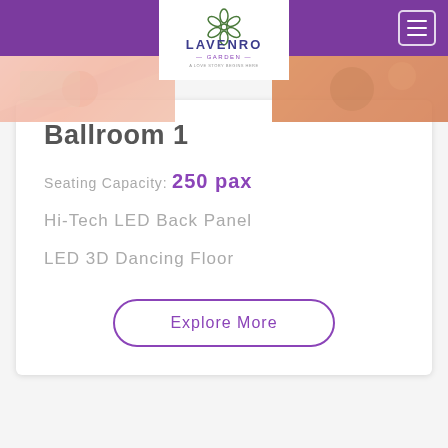Lavenro Garden
[Figure (photo): Decorative event/wedding photos on left and right sides of header]
Ballroom 1
Seating Capacity: 250 pax
Hi-Tech LED Back Panel
LED 3D Dancing Floor
Explore More